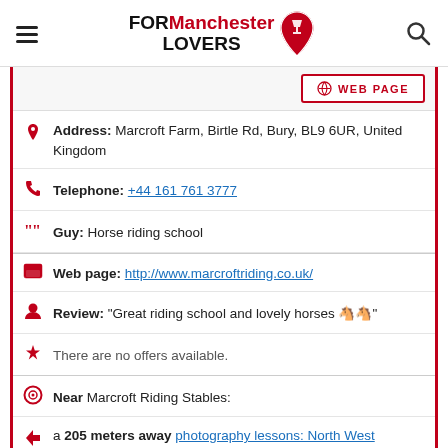FOR Manchester LOVERS
WEB PAGE
Address: Marcroft Farm, Birtle Rd, Bury, BL9 6UR, United Kingdom
Telephone: +44 161 761 3777
Guy: Horse riding school
Web page: http://www.marcroftriding.co.uk/
Review: "Great riding school and lovely horses 🐎"
There are no offers available.
Near Marcroft Riding Stables:
a 205 meters away photography lessons: North West Photography Courses